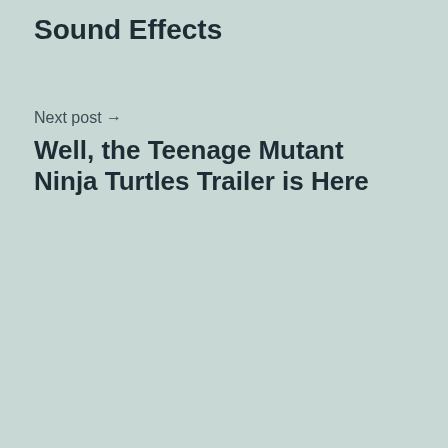Sound Effects
Next post →
Well, the Teenage Mutant Ninja Turtles Trailer is Here